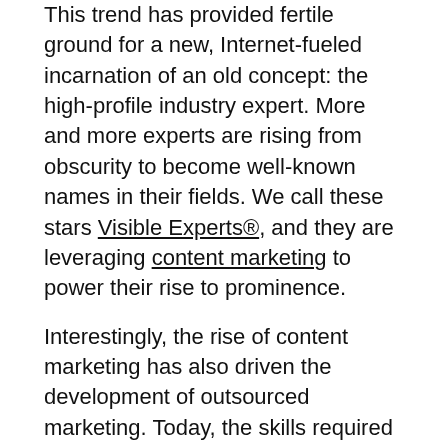This trend has provided fertile ground for a new, Internet-fueled incarnation of an old concept: the high-profile industry expert. More and more experts are rising from obscurity to become well-known names in their fields. We call these stars Visible Experts®, and they are leveraging content marketing to power their rise to prominence.
Interestingly, the rise of content marketing has also driven the development of outsourced marketing. Today, the skills required to market a firm are vast and varied. And because many of them are driven by technology, they require a great deal of expertise to keep up with the pace of change. Many firms don't want the headache of keeping on top of all this change. So they turn to outside marketing firms to fill in the gaps, or even take the reins. In fact, we're seeing evidence that firms are spending roughly